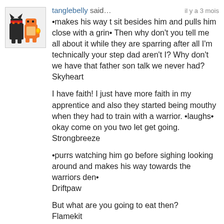[Figure (illustration): Pixel art avatar showing two cartoon characters, one dark cat-like and one orange lizard/dinosaur-like creature]
tanglebelly said… il y a 3 mois
•makes his way t sit besides him and pulls him close with a grin• Then why don't you tell me all about it while they are sparring after all I'm technically your step dad aren't I? Why don't we have that father son talk we never had?
Skyheart

I have faith! I just have more faith in my apprentice and also they started being mouthy when they had to train with a warrior. •laughs• okay come on you two let get going.
Strongbreeze

•purrs watching him go before sighing looking around and makes his way towards the warriors den•
Driftpaw

But what are you going to eat then?
Flamekit

Agreed…soooo when are you thinking of kits?